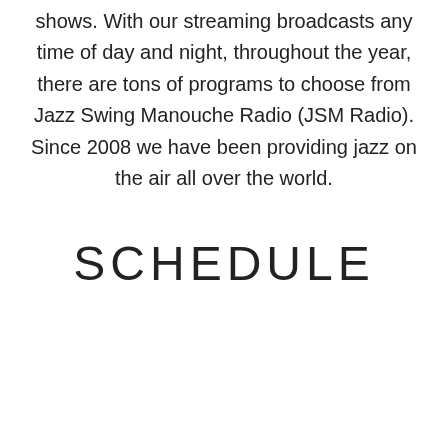shows. With our streaming broadcasts any time of day and night, throughout the year, there are tons of programs to choose from Jazz Swing Manouche Radio (JSM Radio). Since 2008 we have been providing jazz on the air all over the world.
SCHEDULE